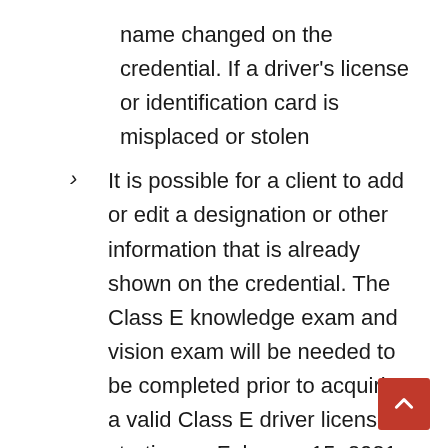name changed on the credential. If a driver's license or identification card is misplaced or stolen
It is possible for a client to add or edit a designation or other information that is already shown on the credential. The Class E knowledge exam and vision exam will be needed to be completed prior to acquiring a valid Class E driver license starting on February 15, 2021 for customers who have had their Class E driver licenses expired for more than one year as of that date. It is possible to finish the Class E knowledge exam up to one year before applying for a Class E